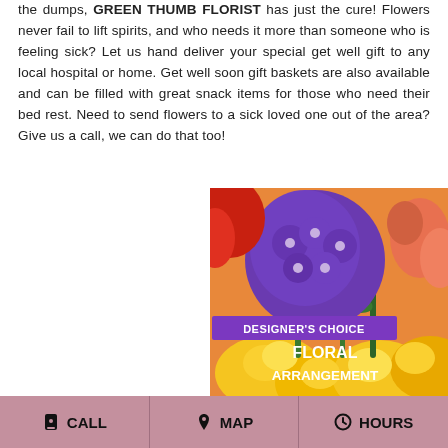the dumps, GREEN THUMB FLORIST has just the cure! Flowers never fail to lift spirits, and who needs it more than someone who is feeling sick? Let us hand deliver your special get well gift to any local hospital or home. Get well soon gift baskets are also available and can be filled with great snack items for those who need their bed rest. Need to send flowers to a sick loved one out of the area? Give us a call, we can do that too!
[Figure (photo): Photo of a floral arrangement featuring purple, yellow, orange, and pink flowers with overlay text reading DESIGNER'S CHOICE FLORAL ARRANGEMENT]
CALL   MAP   HOURS